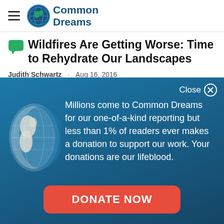Common Dreams
Wildfires Are Getting Worse: Time to Rehydrate Our Landscapes
Judith Schwartz · Aug 16, 2016
[Figure (infographic): Blue gradient overlay/modal with globe illustration, donation appeal text, and a red DONATE NOW button. Text reads: Millions come to Common Dreams for our one-of-a-kind reporting but less than 1% of readers ever makes a donation to support our work. Your donations are our lifeblood.]
Millions come to Common Dreams for our one-of-a-kind reporting but less than 1% of readers ever makes a donation to support our work. Your donations are our lifeblood.
DONATE NOW